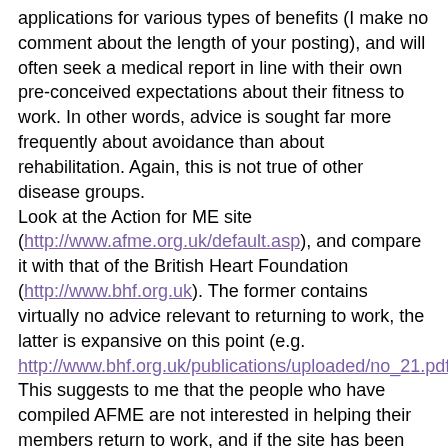applications for various types of benefits (I make no comment about the length of your posting), and will often seek a medical report in line with their own pre-conceived expectations about their fitness to work. In other words, advice is sought far more frequently about avoidance than about rehabilitation. Again, this is not true of other disease groups.
Look at the Action for ME site (http://www.afme.org.uk/default.asp), and compare it with that of the British Heart Foundation (http://www.bhf.org.uk). The former contains virtually no advice relevant to returning to work, the latter is expansive on this point (e.g. http://www.bhf.org.uk/publications/uploaded/no_21.pdf). This suggests to me that the people who have compiled AFME are not interested in helping their members return to work, and if the site has been developed in response to requests for information then presumably the members are not either.